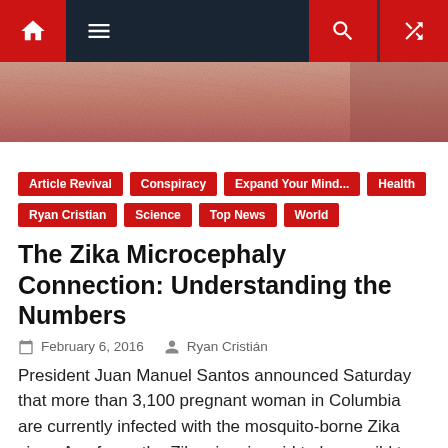Navigation bar with home, menu, search, and shuffle icons
[Figure (photo): Close-up photo of skin texture, pinkish-red tones]
Article Revival
Conspiracy
Expand Your Mind...
Health
Ryan Cristian
Science
Top News
World
The Zika Microcephaly Connection: Understanding the Numbers
February 6, 2016   Ryan Cristián
President Juan Manuel Santos announced Saturday that more than 3,100 pregnant woman in Columbia are currently infected with the mosquito-borne Zika virus. As of now the Zika virus is said to have mild to moderate symptoms and not thought to be life threatening. That threat alone would not be enough to herald the "next big